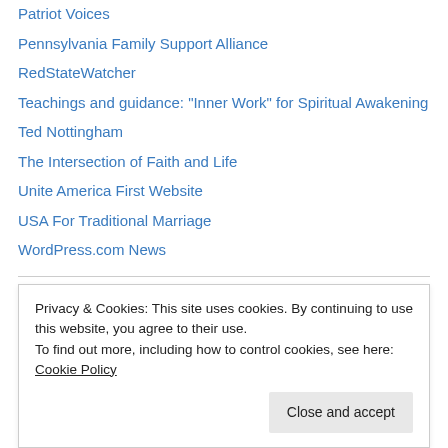Patriot Voices
Pennsylvania Family Support Alliance
RedStateWatcher
Teachings and guidance: "Inner Work" for Spiritual Awakening
Ted Nottingham
The Intersection of Faith and Life
Unite America First Website
USA For Traditional Marriage
WordPress.com News
Archives
August 2022
Privacy & Cookies: This site uses cookies. By continuing to use this website, you agree to their use.
To find out more, including how to control cookies, see here: Cookie Policy
February 2022